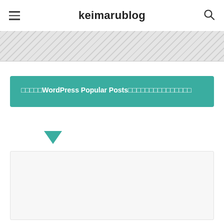keimarublog
[Figure (photo): Gray hatched image placeholder banner below header]
□□□□□WordPress Popular Posts□□□□□□□□□□□□□□□
[Figure (photo): Light gray content box placeholder at the bottom of the page]